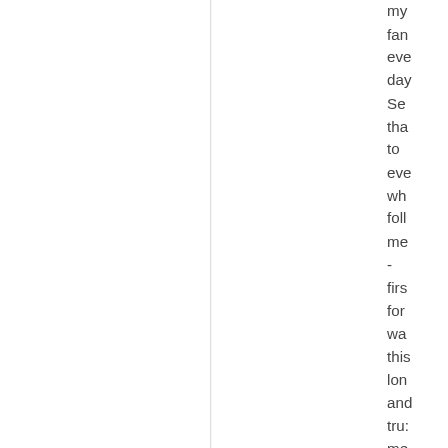my fan eve day Se tha to eve wh foll me - firs for wa thi lon anc tru: me wh I sai tha I'd